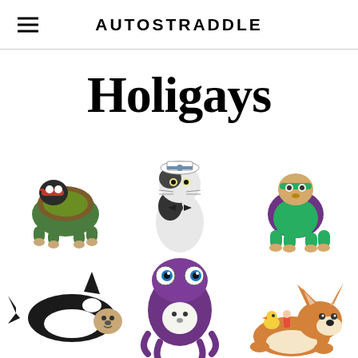AUTOSTRADDLE
Holigays
[Figure (photo): Six pets dressed in costumes arranged in a 3x2 grid. Top row: dog dressed as Teenage Mutant Ninja Turtle (Raphael), cat wearing a sailor hat and bow tie, dog dressed as a superhero in purple and green outfit. Bottom row: dog dressed as an orca/killer whale, small white dog dressed as a purple octopus, corgi lying down with a small duck and figure on its back.]